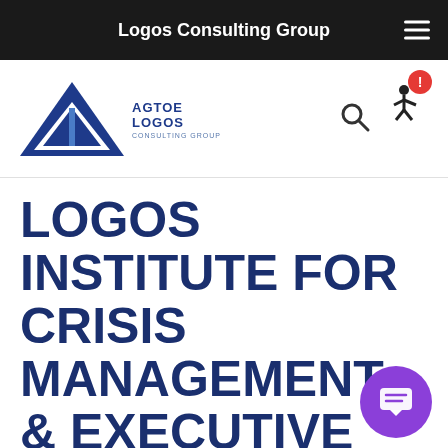Logos Consulting Group
[Figure (logo): Logos Consulting Group logo with blue triangle/arrow and text AGTOE LOGOS CONSULTING GROUP]
LOGOS INSTITUTE FOR CRISIS MANAGEMENT & EXECUTIVE LEADERSHIP